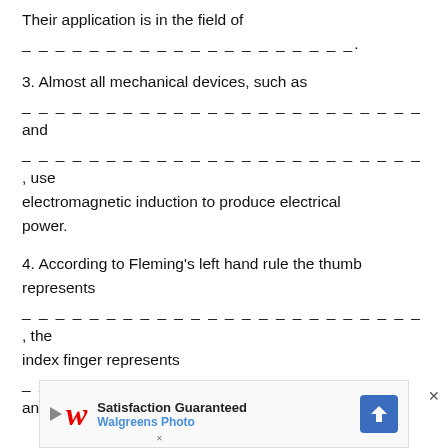Their application is in the field of
____________________.
3. Almost all mechanical devices, such as _________________________ and _________________________, use electromagnetic induction to produce electrical power.
4. According to Fleming’s left hand rule the thumb represents __________________________, the index finger represents __________________________, and the middle